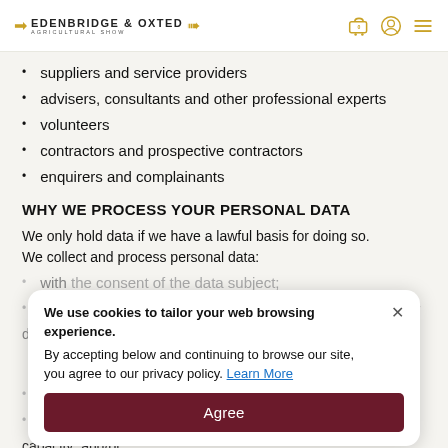EDENBRIDGE & OXTED AGRICULTURAL SHOW
suppliers and service providers
advisers, consultants and other professional experts
volunteers
contractors and prospective contractors
enquirers and complainants
WHY WE PROCESS YOUR PERSONAL DATA
We only hold data if we have a lawful basis for doing so. We collect and process personal data:
with the consent of the data subject;
to comply with a legal obligation, to perform a contract, or discharge a contractual obligation;
to comply with a legal obligation; or
to perform a task in the public interest or in an official capacity; and/or